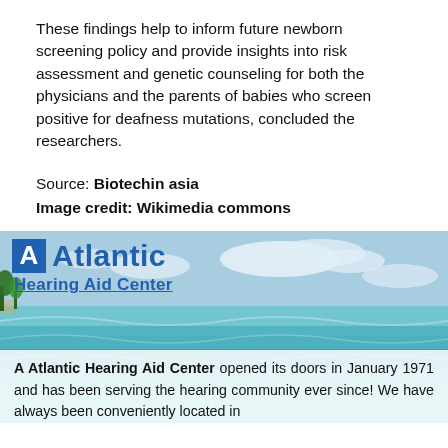These findings help to inform future newborn screening policy and provide insights into risk assessment and genetic counseling for both the physicians and the parents of babies who screen positive for deafness mutations, concluded the researchers.
Source: Biotechin asia
Image credit: Wikimedia commons
[Figure (photo): Beach scene with turquoise ocean water, sandy shore, and blue sky with clouds. Atlantic Hearing Aid Center logo overlay with 'A' box logo mark and text 'Atlantic Hearing Aid Center' in blue.]
A Atlantic Hearing Aid Center opened its doors in January 1971 and has been serving the hearing community ever since! We have always been conveniently located in